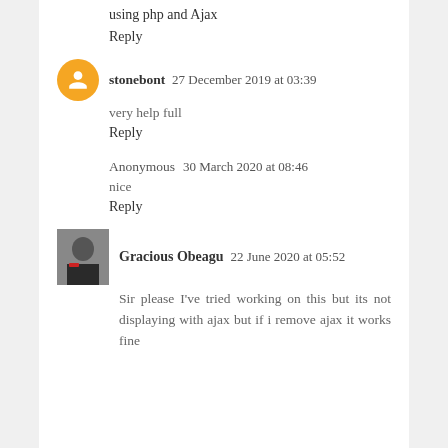using php and Ajax
Reply
stonebont  27 December 2019 at 03:39
very help full
Reply
Anonymous  30 March 2020 at 08:46
nice
Reply
Gracious Obeagu  22 June 2020 at 05:52
Sir please I've tried working on this but its not displaying with ajax but if i remove ajax it works fine